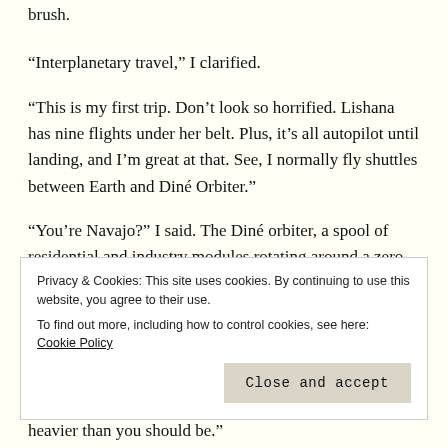brush.
“Interplanetary travel,” I clarified.
“This is my first trip. Don’t look so horrified. Lishana has nine flights under her belt. Plus, it’s all autopilot until landing, and I’m great at that. See, I normally fly shuttles between Earth and Diné Orbiter.”
“You’re Navajo?” I said. The Diné orbiter, a spool of residential and industry modules rotating around a zero-grav core, was sovereign Navajo territory, completely inhabited by Nation citizens or their guests. Among the first space colonies, it
Privacy & Cookies: This site uses cookies. By continuing to use this website, you agree to their use.
To find out more, including how to control cookies, see here: Cookie Policy
heavier than you should be.”